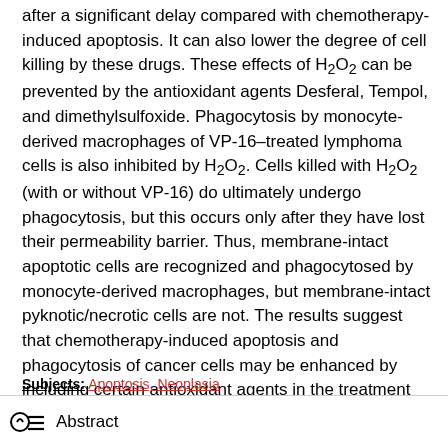after a significant delay compared with chemotherapy-induced apoptosis. It can also lower the degree of cell killing by these drugs. These effects of H₂O₂ can be prevented by the antioxidant agents Desferal, Tempol, and dimethylsulfoxide. Phagocytosis by monocyte-derived macrophages of VP-16–treated lymphoma cells is also inhibited by H₂O₂. Cells killed with H₂O₂ (with or without VP-16) do ultimately undergo phagocytosis, but this occurs only after they have lost their permeability barrier. Thus, membrane-intact apoptotic cells are recognized and phagocytosed by monocyte-derived macrophages, but membrane-intact pyknotic/necrotic cells are not. The results suggest that chemotherapy-induced apoptosis and phagocytosis of cancer cells may be enhanced by including certain antioxidant agents in the treatment protocol.
Subjects: Apoptosis, Neoplasia
Abstract